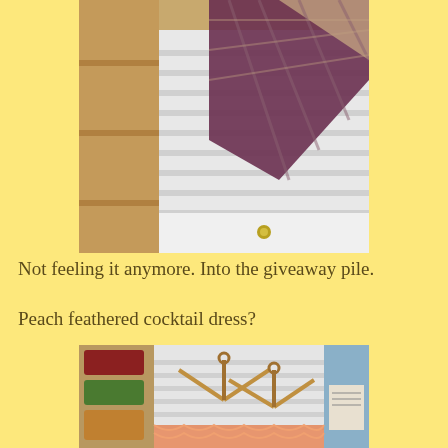[Figure (photo): Closet scene showing plaid fabric draped over a white shutter-style wardrobe door with a brass knob and wooden shelving visible on the left]
Not feeling it anymore. Into the giveaway pile.
Peach feathered cocktail dress?
[Figure (photo): Wooden hangers on a white shutter-style closet door with colorful items on shelves to the left and peach/orange feathered fabric visible at the bottom]